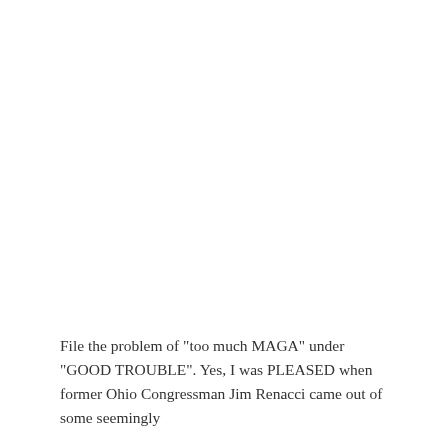File the problem of "too much MAGA" under "GOOD TROUBLE". Yes, I was PLEASED when former Ohio Congressman Jim Renacci came out of some seemingly